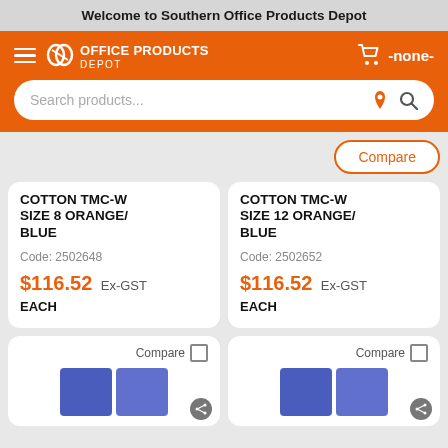Welcome to Southern Office Products Depot
[Figure (screenshot): Office Products Depot orange navigation bar with hamburger menu, logo, cart icon showing -none-, and a search bar with microphone and search icons]
COTTON TMC-W SIZE 8 ORANGE/BLUE
Code: 2502648
$116.52 Ex-GST
EACH
COTTON TMC-W SIZE 12 ORANGE/BLUE
Code: 2502652
$116.52 Ex-GST
EACH
[Figure (photo): Partial view of blue work coveralls/clothing items in two bottom product cards with Compare checkboxes]
[Figure (photo): Partial view of blue work coveralls/clothing items in second bottom product card with Compare checkbox]